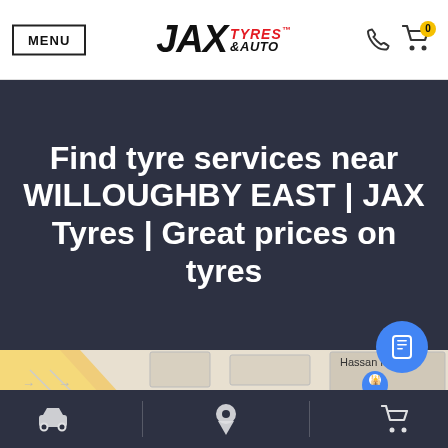MENU | JAX TYRES & AUTO
Find tyre services near WILLOUGHBY EAST | JAX Tyres | Great prices on tyres
[Figure (map): Street map showing local area with a map pin marker and label 'Hassan Haider']
Bottom navigation bar with car icon, location pin icon, and shopping cart icon